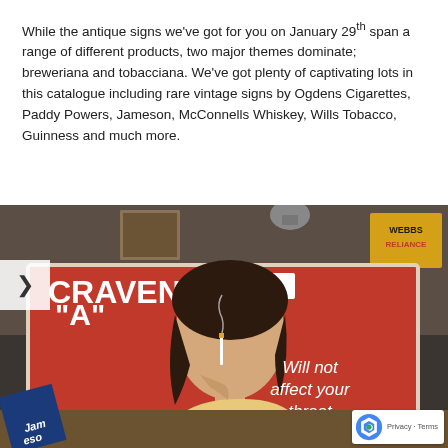While the antique signs we've got for you on January 29th span a range of different products, two major themes dominate; breweriana and tobacciana. We've got plenty of captivating lots in this catalogue including rare vintage signs by Ogdens Cigarettes, Paddy Powers, Jameson, McConnells Whiskey, Wills Tobacco, Guinness and much more.
[Figure (photo): Photograph of an antique Craven 'A' cigarette advertising sign on a red background. The sign shows a glamorous woman holding a cigarette and the text 'Will not affect your throat'. A numbered auction tag '444' is visible. In the background are other antique signs including one for 'Webbs'. A blue Jameson box is visible in the foreground. A reCAPTCHA badge appears in the bottom right corner.]